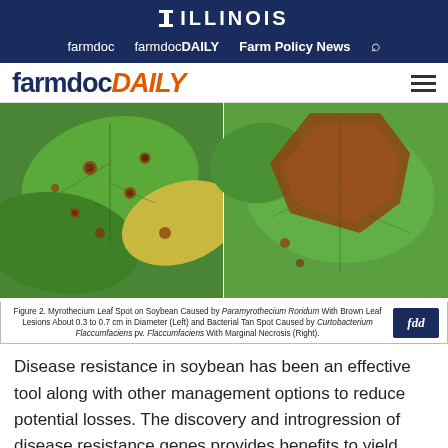I ILLINOIS
farmdoc   farmdocDAILY   Farm Policy News
farmdocDAILY
[Figure (photo): Two side-by-side photos of soybean leaves showing disease symptoms. Left: Myrothecium Leaf Spot with small brown lesions 0.3 to 0.7 cm in diameter. Right: Bacterial Tan Spot with marginal necrosis causing large brown angular lesions.]
Figure 2. Myrothecium Leaf Spot on Soybean Caused by Paramyrothecium Roridum With Brown Leaf Lesions About 0.3 to 0.7 cm in Diameter (Left) and Bacterial Tan Spot Caused by Curtobacterium Flaccumfaciens pv. Flaccumfaciens With Marginal Necrosis (Right).
Disease resistance in soybean has been an effective tool along with other management options to reduce potential losses. The discovery and introgression of disease resistance genes provides benefits to yield gain and crop stability (Hartman et al. 2015). Most commercial soybean cultivars grown in the United States today include resistance to one or more pathogens (Ghoude et al. 2012). Soybean growers in the